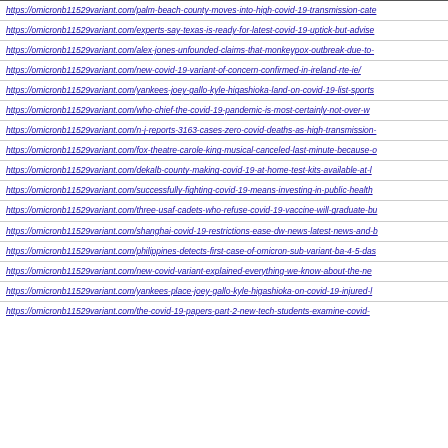https://omicronb11529variant.com/palm-beach-county-moves-into-high-covid-19-transmission-cate
https://omicronb11529variant.com/experts-say-texas-is-ready-for-latest-covid-19-uptick-but-advise
https://omicronb11529variant.com/alex-jones-unfounded-claims-that-monkeypox-outbreak-due-to-
https://omicronb11529variant.com/new-covid-19-variant-of-concern-confirmed-in-ireland-rte-ie/
https://omicronb11529variant.com/yankees-joey-gallo-kyle-higashioka-land-on-covid-19-list-sports
https://omicronb11529variant.com/who-chief-the-covid-19-pandemic-is-most-certainly-not-over-w
https://omicronb11529variant.com/n-j-reports-3163-cases-zero-covid-deaths-as-high-transmission-
https://omicronb11529variant.com/fox-theatre-carole-king-musical-canceled-last-minute-because-o
https://omicronb11529variant.com/dekalb-county-making-covid-19-at-home-test-kits-available-at-l
https://omicronb11529variant.com/successfully-fighting-covid-19-means-investing-in-public-health
https://omicronb11529variant.com/three-usaf-cadets-who-refuse-covid-19-vaccine-will-graduate-bu
https://omicronb11529variant.com/shanghai-covid-19-restrictions-ease-dw-news-latest-news-and-b
https://omicronb11529variant.com/philippines-detects-first-case-of-omicron-sub-variant-ba-4-5-das
https://omicronb11529variant.com/new-covid-variant-explained-everything-we-know-about-the-ne
https://omicronb11529variant.com/yankees-place-joey-gallo-kyle-higashioka-on-covid-19-injured-l
https://omicronb11529variant.com/the-covid-19-papers-part-2-new-tech-students-examine-covid-